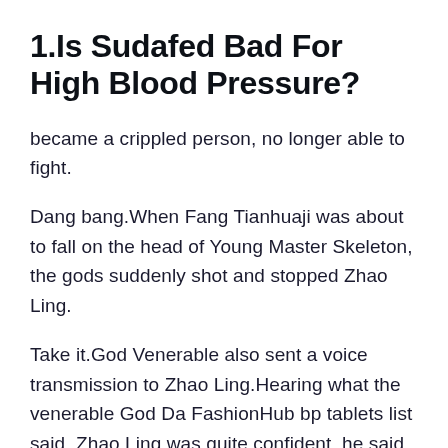1.Is Sudafed Bad For High Blood Pressure?
became a crippled person, no longer able to fight.
Dang bang.When Fang Tianhuaji was about to fall on the head of Young Master Skeleton, the gods suddenly shot and stopped Zhao Ling.
Take it.God Venerable also sent a voice transmission to Zhao Ling.Hearing what the venerable God Da FashionHub bp tablets list said, Zhao Ling was quite confident, he said loudly I have three conditions.
At this bp tablets list moment, he looks like a lively tiger.Hearing Zhao Ling is words, he also made a cry.Zhao Ling smiled slightly and said lightly, How about roasting it Ow The little